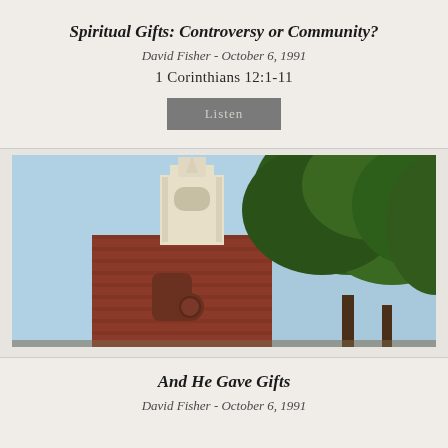Spiritual Gifts: Controversy or Community?
David Fisher - October 6, 1991
1 Corinthians 12:1-11
Listen
[Figure (photo): Photo of a colonial-style church steeple and bell tower in white with a cross on top, rising above a red brick building. Large green trees frame the right side. Blue sky in background.]
And He Gave Gifts
David Fisher - October 6, 1991